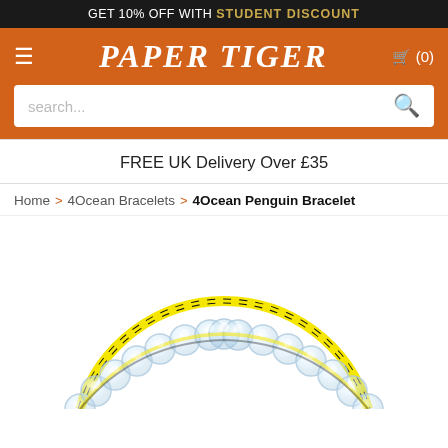GET 10% OFF WITH STUDENT DISCOUNT
PAPER TIGER
search...
FREE UK Delivery Over £35
Home > 4Ocean Bracelets > 4Ocean Penguin Bracelet
[Figure (photo): Close-up photo of a 4Ocean Penguin Bracelet — clear/transparent round beads strung on a cord with yellow and black stripe pattern, shown in an arch shape against white background]